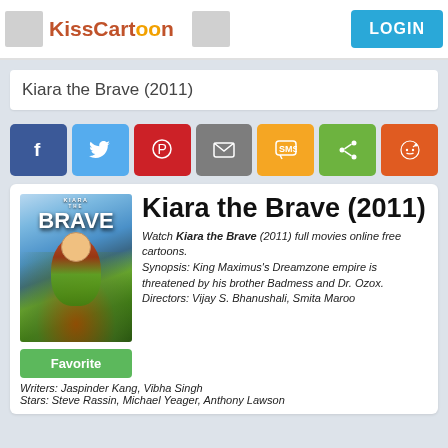KissCartoon LOGIN
Kiara the Brave (2011)
[Figure (screenshot): Social sharing buttons row: Facebook (blue), Twitter (light blue), Pinterest (red), Email (gray), SMS (yellow/orange), Share (green), Reddit (orange-red)]
[Figure (illustration): Kiara the Brave (2011) animated movie poster showing a red-haired girl character titled KIARA THE BRAVE]
Kiara the Brave (2011)
Watch Kiara the Brave (2011) full movies online free cartoons. Synopsis: King Maximus's Dreamzone empire is threatened by his brother Badmess and Dr. Ozox. Directors: Vijay S. Bhanushali, Smita Maroo
Writers: Jaspinder Kang, Vibha Singh
Stars: Steve Rassin, Michael Yeager, Anthony Lawson